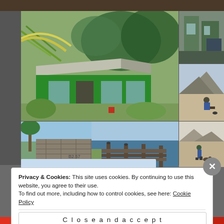[Figure (photo): A collage of 6 photographs showing scenes from what appears to be a Caribbean or Central American coastal village: a green wooden house on stilts with palm trees, a narrow alley with green corrugated buildings, a person working near mountains, a stone wall along a road with palm trees, a dilapidated wooden dock/pier over water, and a person walking on a dirt road with mountains in background.]
Privacy & Cookies: This site uses cookies. By continuing to use this website, you agree to their use.
To find out more, including how to control cookies, see here: Cookie Policy
Close and accept